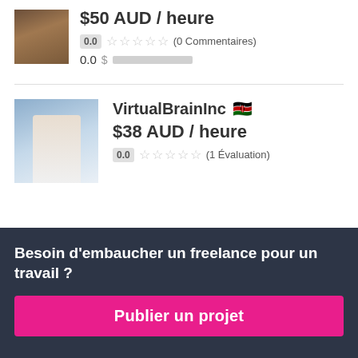[Figure (photo): Profile avatar photo of a person (partially visible, top crop)]
$50 AUD / heure
0.0 ★★★★★ (0 Commentaires)
0.0 $
[Figure (photo): Profile photo of VirtualBrainInc freelancer]
VirtualBrainInc 🇰🇪
$38 AUD / heure
0.0 ★★★★★ (1 Évaluation)
Besoin d'embaucher un freelance pour un travail ?
Publier un projet